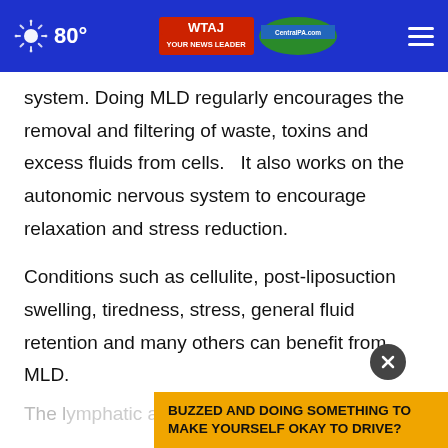80° WTAJ CentralPA.com
system. Doing MLD regularly encourages the removal and filtering of waste, toxins and excess fluids from cells.   It also works on the autonomic nervous system to encourage relaxation and stress reduction.
Conditions such as cellulite, post-liposuction swelling, tiredness, stress, general fluid retention and many others can benefit from MLD.
The lymphatic and circulatory systems will
[Figure (screenshot): Ad banner: BUZZED AND DOING SOMETHING TO MAKE YOURSELF OKAY TO DRIVE? with close button]